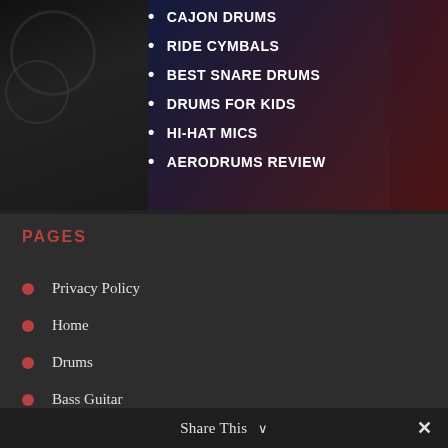[Figure (screenshot): Dark background image of drummer/drum kit partially visible on left and right edges, with dark navy-to-red gradient overlay in center]
CAJON DRUMS
RIDE CYMBALS
BEST SNARE DRUMS
DRUMS FOR KIDS
HI-HAT MICS
AERODRUMS REVIEW
PAGES
Privacy Policy
Home
Drums
Bass Guitar
About
Share This ∨